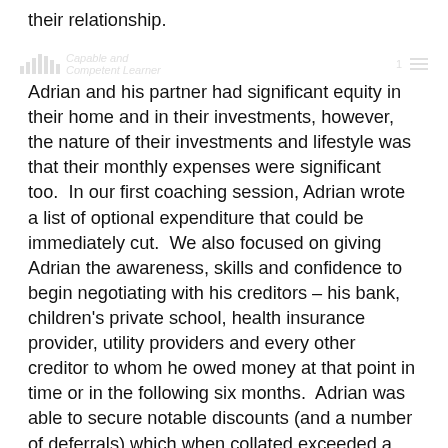their relationship.
Capable and Competent Learner
Adrian and his partner had significant equity in their home and in their investments, however, the nature of their investments and lifestyle was that their monthly expenses were significant too.  In our first coaching session, Adrian wrote a list of optional expenditure that could be immediately cut.  We also focused on giving Adrian the awareness, skills and confidence to begin negotiating with his creditors – his bank, children's private school, health insurance provider, utility providers and every other creditor to whom he owed money at that point in time or in the following six months.  Adrian was able to secure notable discounts (and a number of deferrals) which when collated exceeded a month of Adrian's take-home salary.